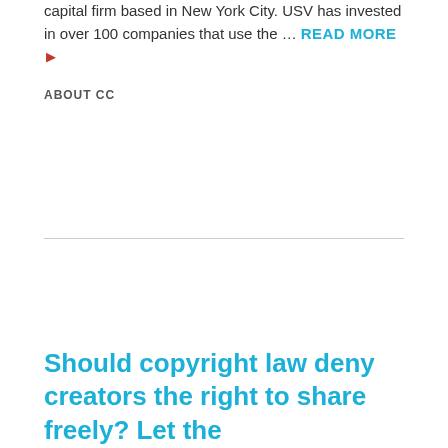capital firm based in New York City. USV has invested in over 100 companies that use the … READ MORE ▶
ABOUT CC
Should copyright law deny creators the right to share freely? Let the